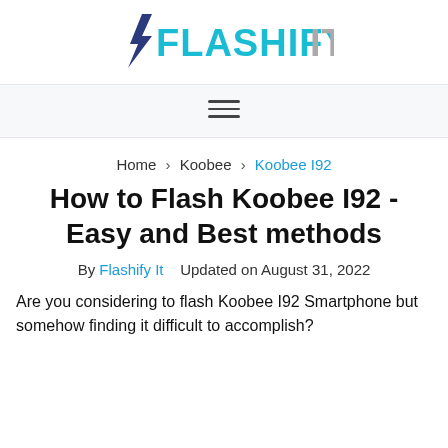[Figure (logo): Flashify It logo with lightning bolt and teal/gray text]
≡ (hamburger menu)
Home > Koobee > Koobee I92
How to Flash Koobee I92 - Easy and Best methods
By Flashify It   Updated on August 31, 2022
Are you considering to flash Koobee I92 Smartphone but somehow finding it difficult to accomplish?